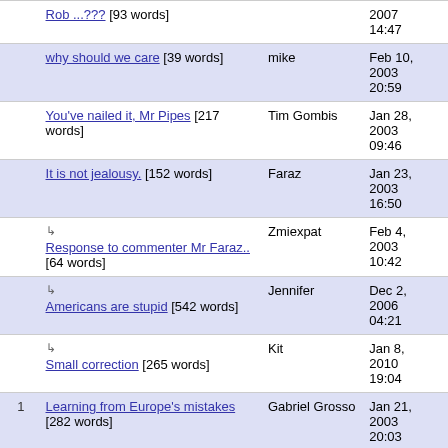| # | Title | Author | Date |
| --- | --- | --- | --- |
|  | Rob ...??? [93 words] |  | 2007 14:47 |
|  | why should we care [39 words] | mike | Feb 10, 2003 20:59 |
|  | You've nailed it, Mr Pipes [217 words] | Tim Gombis | Jan 28, 2003 09:46 |
|  | It is not jealousy. [152 words] | Faraz | Jan 23, 2003 16:50 |
|  | ↳ Response to commenter Mr Faraz.. [64 words] | Zmiexpat | Feb 4, 2003 10:42 |
|  | ↳ Americans are stupid [542 words] | Jennifer | Dec 2, 2006 04:21 |
|  | ↳ Small correction [265 words] | Kit | Jan 8, 2010 19:04 |
| 1 | Learning from Europe's mistakes [282 words] | Gabriel Grosso | Jan 21, 2003 20:03 |
|  | ↳ It is impossible to do as Gabriel Grosso suggests [236 words] | Stephen Berman | Jan 22, 2003 16:27 |